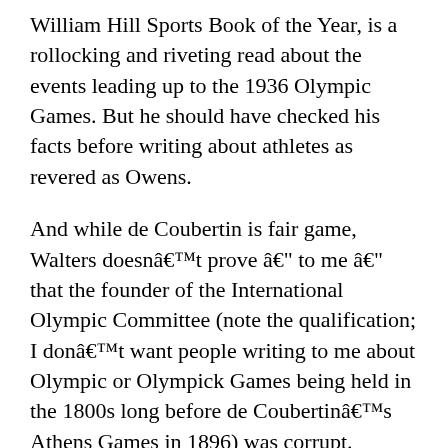William Hill Sports Book of the Year, is a rollocking and riveting read about the events leading up to the 1936 Olympic Games. But he should have checked his facts before writing about athletes as revered as Owens.
And while de Coubertin is fair game, Walters doesnâ€™t prove â€“ to me â€“ that the founder of the International Olympic Committee (note the qualification; I donâ€™t want people writing to me about Olympic or Olympick Games being held in the 1800s long before de Coubertinâ€™s Athens Games in 1896) was corrupt.
We knew already that the 1936 German Olympic chief Lewald had offered the Baron money not to interfere in the Naziâ€™s determination to shape the Games in their own style. But nobody knows if he took the bribe. Walters says he does, but he